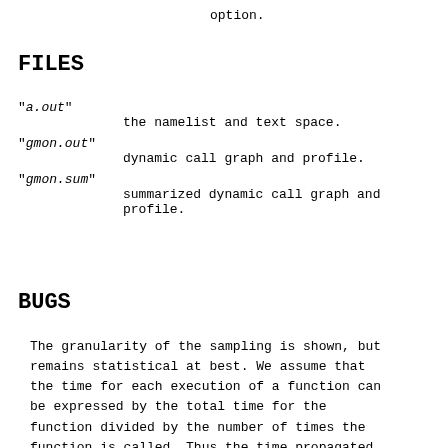option.
FILES
"a.out"
    the namelist and text space.
"gmon.out"
    dynamic call graph and profile.
"gmon.sum"
    summarized dynamic call graph and profile.
BUGS
The granularity of the sampling is shown, but remains statistical at best. We assume that the time for each execution of a function can be expressed by the total time for the function divided by the number of times the function is called. Thus the time propagated